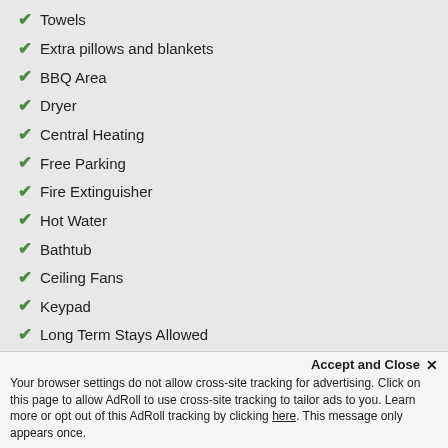Towels
Extra pillows and blankets
BBQ Area
Dryer
Central Heating
Free Parking
Fire Extinguisher
Hot Water
Bathtub
Ceiling Fans
Keypad
Long Term Stays Allowed
Location Types:
Downtown
Mountain View
Resort
Rural
Village
Accept and Close ✕
Your browser settings do not allow cross-site tracking for advertising. Click on this page to allow AdRoll to use cross-site tracking to tailor ads to you. Learn more or opt out of this AdRoll tracking by clicking here. This message only appears once.